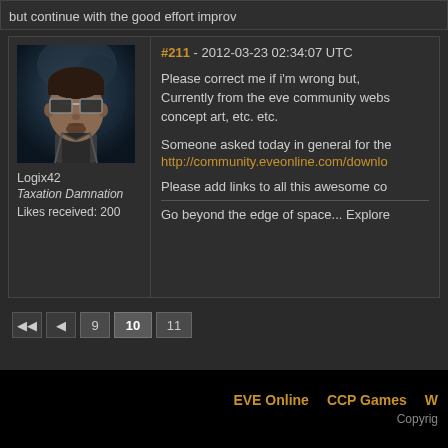but continue with the good effort improv
#211 - 2012-03-23 02:34:07 UTC
[Figure (photo): User avatar for Logix42 - 3D rendered male character with dark hair and sunglasses]
Logix42
Taxation Damnation
Likes received: 200
Please correct me if i'm wrong but, Currently from the eve community webs concept art, etc. etc.
Someone asked today in general for the
http://community.eveonline.com/downlo
Please add links to all this awesome co
Go beyond the edge of space... Explore
9
10
11
EVE Online   CCP Games   W
Copyrig